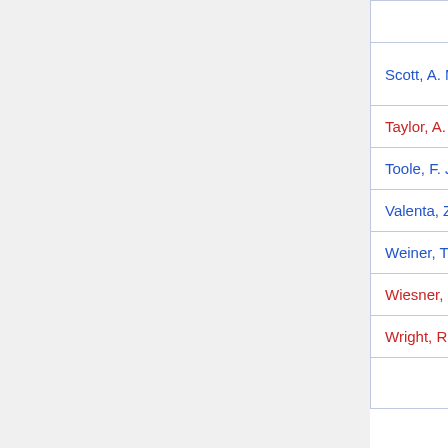| Name | Department | Years |
| --- | --- | --- |
|  | Engineering |  |
| Scott, A. M. | Physics & Electrical Engineering | 1899 - 1906 |
| Taylor, A. R. A. | Biology | 1946 - 1987 |
| Toole, F. J. | Chemistry | 1930 - 19-- |
| Valenta, Z. | Chemistry | 1954 - 1993 |
| Weiner, T. | Physics | 1947 - 1975 |
| Wiesner, K. | Chemistry | 1948 - 19-- |
| Wright, R. H. | Chemistry | 1932 - 19-- |
|  |  |  |